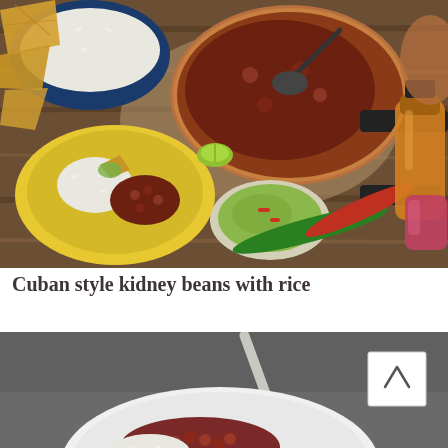[Figure (photo): Overhead flat-lay photo of Cuban style kidney beans with rice. Shows a copper pan filled with kidney bean stew, a yellow plate with rice and beans, a bowl of guacamole, tortilla chips, lime wedges, chili peppers, and bottles of juice on a rustic wooden table.]
Cuban style kidney beans with rice
[Figure (photo): Close-up photo of a white bowl containing kidney beans and rice with a spoon, on a grey background. A white back-to-top arrow button is overlaid in the upper-right area.]